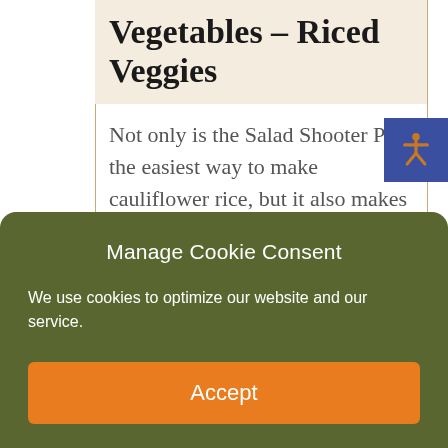Vegetables – Riced Veggies
Not only is the Salad Shooter Pro the easiest way to make cauliflower rice, but it also makes broccoli rice and other vegetable rices as well.
I've noticed for my husband and myself as we get older we have started to avoid foods that are more difficult to chew or
[Figure (other): Accessibility icon button (wheelchair symbol) in blue square]
Manage Cookie Consent
We use cookies to optimize our website and our service.
Accept